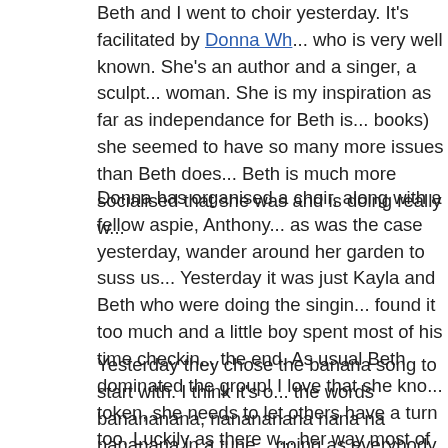Beth and I went to choir yesterday. It's facilitated by Donna Wh... who is very well known. She's an author and a singer, a sculpt... woman. She is my inspiration as far as independance for Beth is... books) she seemed to have so many more issues than Beth does... Beth is much more socialised that she was and is doing really w...
Donna has organised a choir, along with a fellow aspie, Anthony... as was the case yesterday, wander around her garden to suss us... Yesterday it was just Kayla and Beth who were doing the singin... found it too much and a little boy spent most of his time checkin... the end. As usual Beth dominated the group! I love that she kno... token, she needs to let others have a turn too. Luckily as there w... her way most of the time.
Yesterday they chose the banana song to start with. I think it's o... the words banananana, nanananana nana na nananana in a tune... going as everybody swings from side to side while singing it, on... cues and rolls with what is suggested. This song went for quite a... angry tempo, an excited tempo. We even did it in a posh voice,...